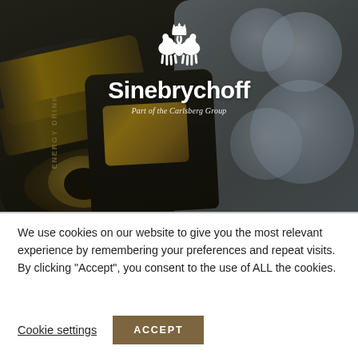[Figure (photo): Sinebrychoff brand header photo showing black energy drink cans with gold labels and clear plastic cups/bottles on a dark background. White Sinebrychoff logo with crown and two horses, brand name in large white text, subtitle 'Part of the Carlsberg Group' in italic below.]
We use cookies on our website to give you the most relevant experience by remembering your preferences and repeat visits. By clicking “Accept”, you consent to the use of ALL the cookies.
Cookie settings
ACCEPT